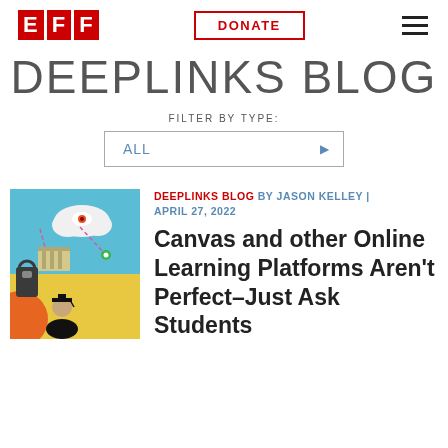EFF | DONATE
DEEPLINKS BLOG
FILTER BY TYPE:
ALL
[Figure (illustration): Colorful illustration showing a graduating student with mortarboard, clouds with an eye, a government building, a locked phone, and data connection lines on an orange/yellow background]
DEEPLINKS BLOG BY JASON KELLEY | APRIL 27, 2022
Canvas and other Online Learning Platforms Aren't Perfect–Just Ask Students